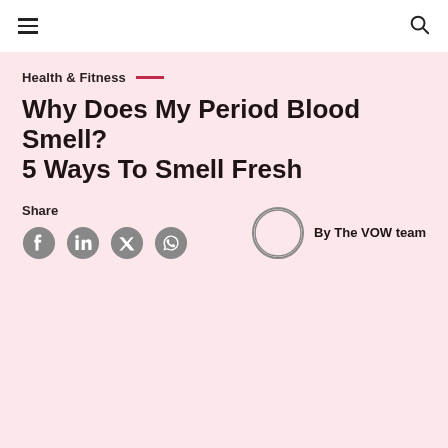Health & Fitness
Why Does My Period Blood Smell? 5 Ways To Smell Fresh
Share
By The VOW team